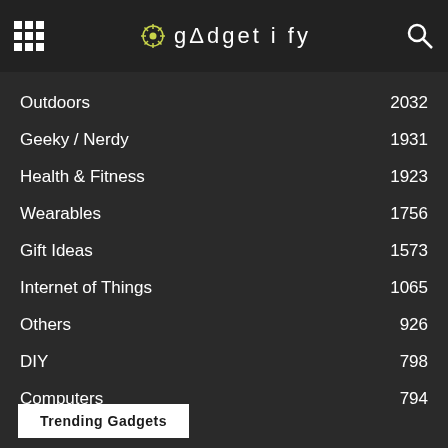gadgetify
Outdoors 2032
Geeky / Nerdy 1931
Health & Fitness 1923
Wearables 1756
Gift Ideas 1573
Internet of Things 1065
Others 926
DIY 798
Computers 794
Business / Office 762
Trending Gadgets